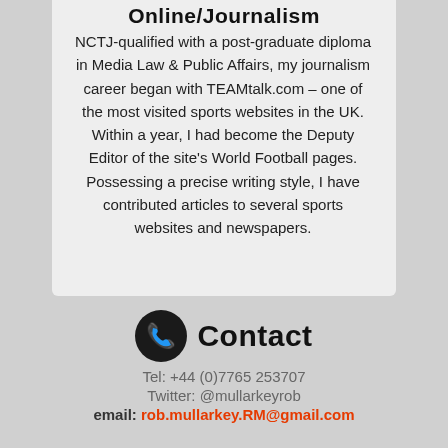Online/Journalism
NCTJ-qualified with a post-graduate diploma in Media Law & Public Affairs, my journalism career began with TEAMtalk.com – one of the most visited sports websites in the UK. Within a year, I had become the Deputy Editor of the site's World Football pages. Possessing a precise writing style, I have contributed articles to several sports websites and newspapers.
Contact
Tel: +44 (0)7765 253707
Twitter: @mullarkeyrob
email: rob.mullarkey.RM@gmail.com